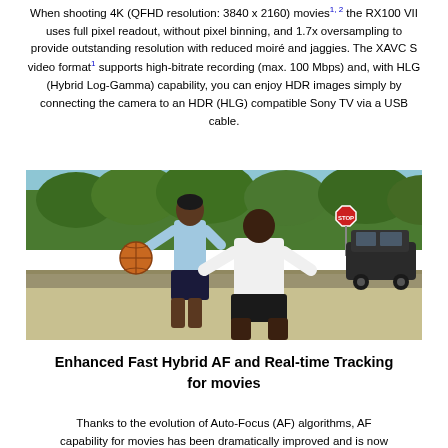When shooting 4K (QFHD resolution: 3840 x 2160) movies¹·² the RX100 VII uses full pixel readout, without pixel binning, and 1.7x oversampling to provide outstanding resolution with reduced moiré and jaggies. The XAVC S video format¹ supports high-bitrate recording (max. 100 Mbps) and, with HLG (Hybrid Log-Gamma) capability, you can enjoy HDR images simply by connecting the camera to an HDR (HLG) compatible Sony TV via a USB cable.
[Figure (photo): Two men playing basketball outdoors on a street court. One player in a light blue shirt is holding a basketball and another player in white is defending. Trees and a stop sign are visible in the background, along with a dark SUV.]
Enhanced Fast Hybrid AF and Real-time Tracking for movies
Thanks to the evolution of Auto-Focus (AF) algorithms, AF capability for movies has been dramatically improved and is now